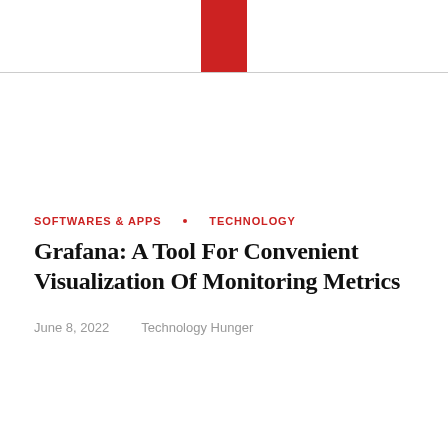SOFTWARES & APPS   TECHNOLOGY
Grafana: A Tool For Convenient Visualization Of Monitoring Metrics
June 8, 2022   Technology Hunger